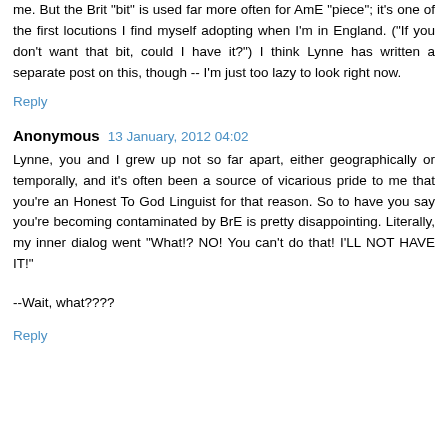me. But the Brit "bit" is used far more often for AmE "piece"; it's one of the first locutions I find myself adopting when I'm in England. ("If you don't want that bit, could I have it?") I think Lynne has written a separate post on this, though -- I'm just too lazy to look right now.
Reply
Anonymous  13 January, 2012 04:02
Lynne, you and I grew up not so far apart, either geographically or temporally, and it's often been a source of vicarious pride to me that you're an Honest To God Linguist for that reason. So to have you say you're becoming contaminated by BrE is pretty disappointing. Literally, my inner dialog went "What!? NO! You can't do that! I'LL NOT HAVE IT!"
--Wait, what????
Reply